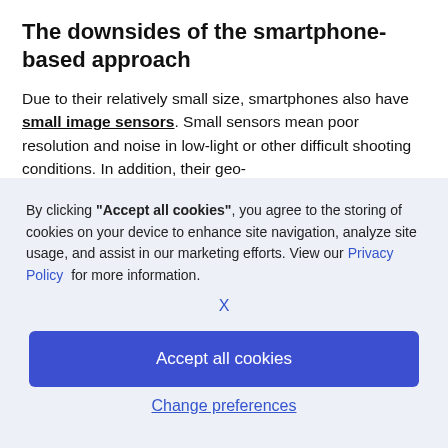The downsides of the smartphone-based approach
Due to their relatively small size, smartphones also have small image sensors. Small sensors mean poor resolution and noise in low-light or other difficult shooting conditions. In addition, their geo-
By clicking "Accept all cookies", you agree to the storing of cookies on your device to enhance site navigation, analyze site usage, and assist in our marketing efforts. View our Privacy Policy for more information.
X
Accept all cookies
Change preferences